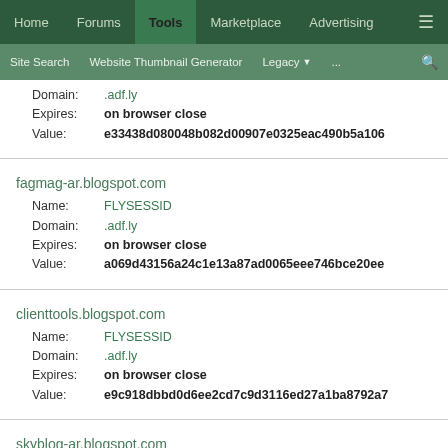Home | Forums | Tools | Marketplace | Advertising
Site Search | Website Thumbnail Generator | Legacy | ...
Domain: .adf.ly
Expires: on browser close
Value: e33438d080048b082d00907e0325eac490b5a106
fagmag-ar.blogspot.com
Name: FLYSESSID
Domain: .adf.ly
Expires: on browser close
Value: a069d43156a24c1e13a87ad0065eee746bce20ee
clienttools.blogspot.com
Name: FLYSESSID
Domain: .adf.ly
Expires: on browser close
Value: e9c918dbbd0d6ee2cd7c9d3116ed27a1ba8792a7
skyblog-ar.blogspot.com
Name: FLYSESSID
Domain: .adf.ly
Expires: on browser close
Value: c767155cdafdb70370a3538bcb9612bfcaf6c087